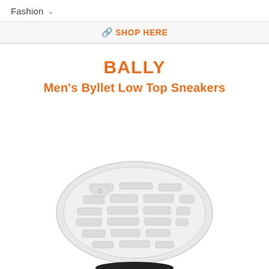Fashion ∨
🔗 SHOP HERE
BALLY
Men's Byllet Low Top Sneakers
[Figure (photo): Bottom sole view of Bally Men's Byllet Low Top Sneaker, white rubber sole with tread pattern, black upper visible at bottom edge]